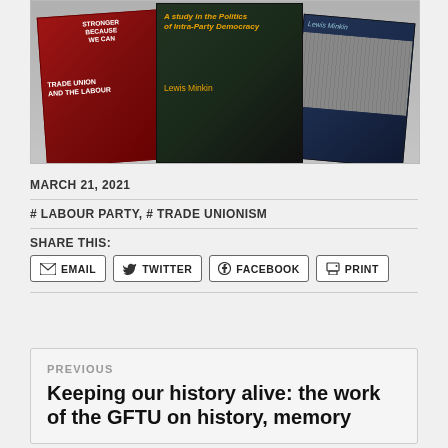[Figure (photo): Three book covers by Lewis Minkin displayed at angles. Left book has a red cover with 'TRADE UNION AND THE LABOUR' text. Middle book is dark green with 'A study in the Politics of Intra-Party Democracy' subtitle and 'Lewis Minkin' author text in orange. Right book is dark blue with 'Lewis Minkin' text and a black-and-white crowd photo.]
MARCH 21, 2021
# LABOUR PARTY, # TRADE UNIONISM
SHARE THIS:
EMAIL
TWITTER
FACEBOOK
PRINT
PREVIOUS
Keeping our history alive: the work of the GFTU on history, memory